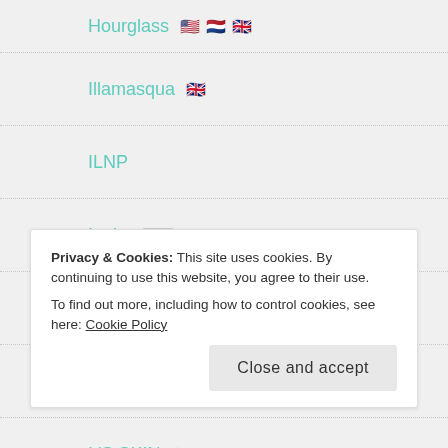Hourglass 🇺🇸 🇳🇱 🇬🇧
Illamasqua 🇬🇧
ILNP
Inglot 🇵🇱
Innisfree 🇰🇷
Ipsy
It'S SKIN 🇰🇷
Privacy & Cookies: This site uses cookies. By continuing to use this website, you agree to their use.
To find out more, including how to control cookies, see here: Cookie Policy
Close and accept